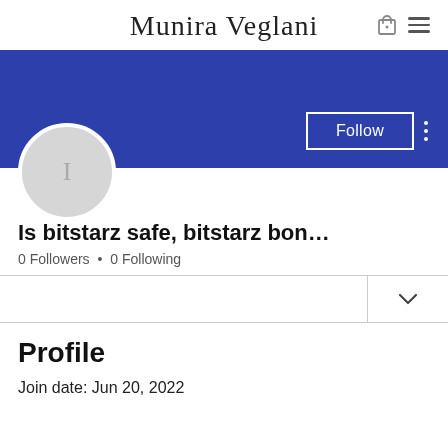Munira Veglani
[Figure (screenshot): Blue banner background for profile page]
[Figure (illustration): Circular grey avatar with letter I]
Follow
Is bitstarz safe, bitstarz bono s...
0 Followers • 0 Following
Profile
Join date: Jun 20, 2022